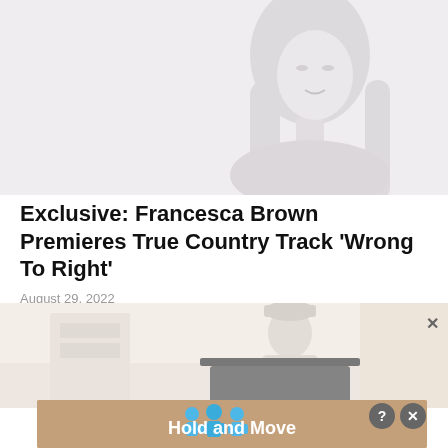[Figure (photo): Faded/washed-out portrait photo of a woman with long light hair, looking slightly to the side, against a light background]
Exclusive: Francesca Brown Premieres True Country Track ‘Wrong To Right’
August 29, 2022
[Figure (photo): Faded/washed-out image of a person wearing a cap and light clothing, standing at what appears to be a piano or keyboard, in a room with warm tones]
[Figure (infographic): Advertisement banner with tan/brown background showing blue cartoon figures and text 'Hold and Move' with a question mark and close button]